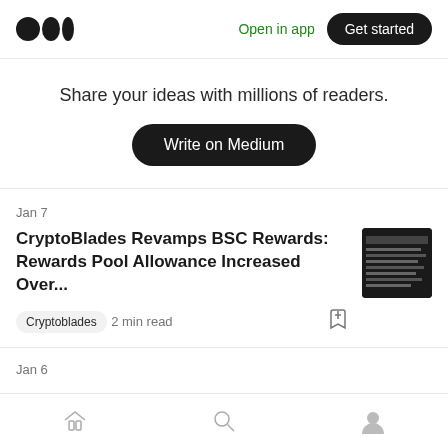Medium logo | Open in app | Get started
Share your ideas with millions of readers.
Write on Medium
Jan 7
CryptoBlades Revamps BSC Rewards: Rewards Pool Allowance Increased Over...
Cryptoblades  2 min read
Jan 6
Home | Search | Profile